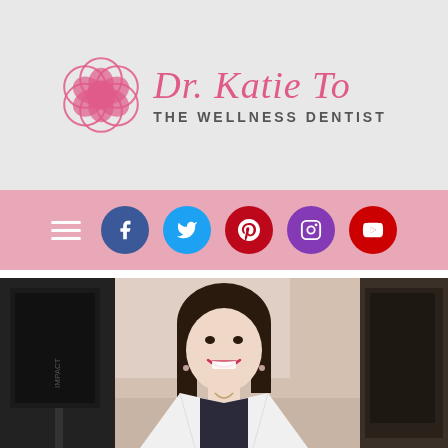[Figure (logo): Dr. Katie To - The Wellness Dentist logo with pink flower/camellia icon and script text]
[Figure (infographic): Pink navigation bar with hamburger menu icon and social media icons: Facebook, Twitter, Pinterest, Instagram, YouTube]
[Figure (photo): Photo of Dr. Katie To smiling in a white coat in a dental office setting with photography equipment/lights visible]